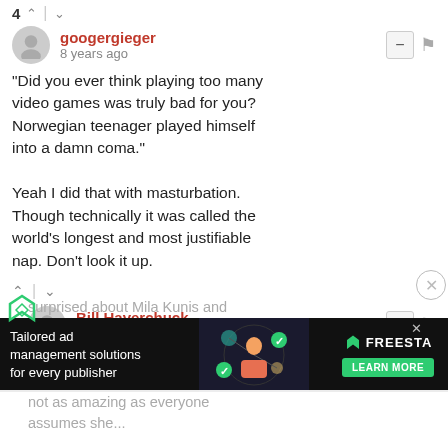4 ↑ | ↓
googergieger — 8 years ago
"Did you ever think playing too many video games was truly bad for you? Norwegian teenager played himself into a damn coma."

Yeah I did that with masturbation. Though technically it was called the world's longest and most justifiable nap. Don't look it up.
↑ | ↓
Bill Haverchuck — 8 years ago
I don't understand why people are s
[Figure (screenshot): Advertisement banner for Freesta ad management platform]
surprised about Mila Kunis and ... not as amazing as everyone assumes she...